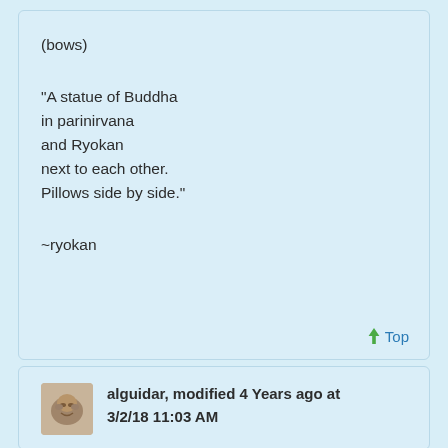(bows)
"A statue of Buddha
in parinirvana
and Ryokan
next to each other.
Pillows side by side."
~ryokan
Top
alguidar, modified 4 Years ago at
3/2/18 11:03 AM